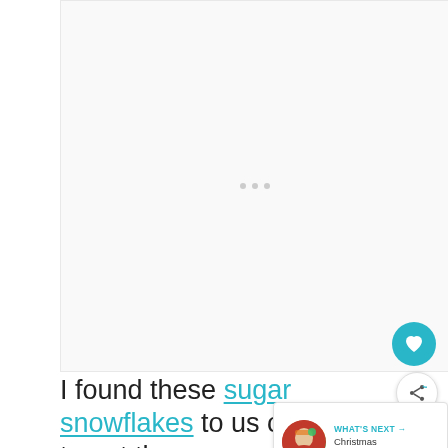[Figure (other): Advertisement placeholder area with three small gray dots in the center on a light gray background]
I found these sugar snowflakes to us on the top at the grocery store in the baking aisle near the candles but you could also use a yellow M&M if you can't